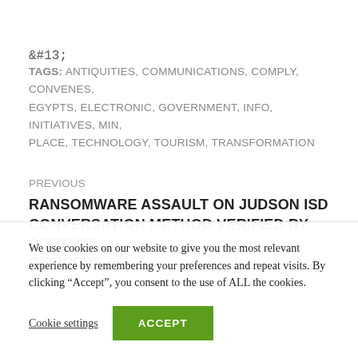&#13;
TAGS: ANTIQUITIES, COMMUNICATIONS, COMPLY, CONVENES, EGYPTS, ELECTRONIC, GOVERNMENT, INFO, INITIATIVES, MIN, PLACE, TECHNOLOGY, TOURISM, TRANSFORMATION
PREVIOUS
RANSOMWARE ASSAULT ON JUDSON ISD CONVERSATION METHOD VERIFIED BY DISTRICT OFFICERS
We use cookies on our website to give you the most relevant experience by remembering your preferences and repeat visits. By clicking “Accept”, you consent to the use of ALL the cookies.